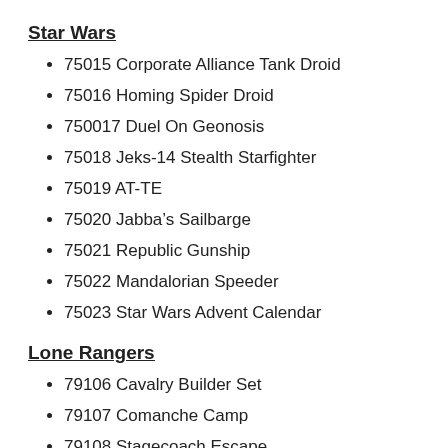Star Wars
75015 Corporate Alliance Tank Droid
75016 Homing Spider Droid
750017 Duel On Geonosis
75018 Jeks-14 Stealth Starfighter
75019 AT-TE
75020 Jabba’s Sailbarge
75021 Republic Gunship
75022 Mandalorian Speeder
75023 Star Wars Advent Calendar
Lone Rangers
79106 Cavalry Builder Set
79107 Comanche Camp
79108 Stagecoach Escape